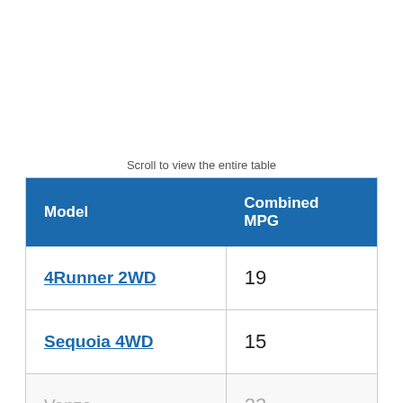Scroll to view the entire table
| Model | Combined MPG |
| --- | --- |
| 4Runner 2WD | 19 |
| Sequoia 4WD | 15 |
| Venza | 23 |